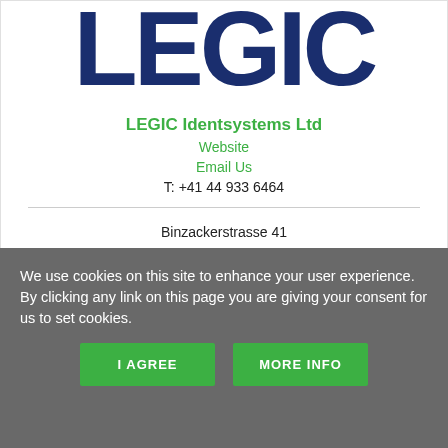[Figure (logo): LEGIC logo in large dark navy blue bold letters on white background]
LEGIC Identsystems Ltd
Website
Email Us
T: +41 44 933 6464
Binzackerstrasse 41
P.O. Box 1221
CH-8620
We use cookies on this site to enhance your user experience.
By clicking any link on this page you are giving your consent for us to set cookies.